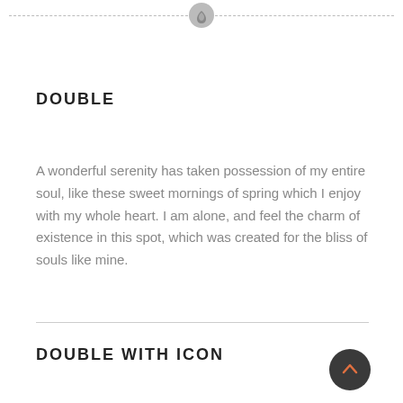[Drupal logo icon with dashed lines]
DOUBLE
A wonderful serenity has taken possession of my entire soul, like these sweet mornings of spring which I enjoy with my whole heart. I am alone, and feel the charm of existence in this spot, which was created for the bliss of souls like mine.
DOUBLE WITH ICON